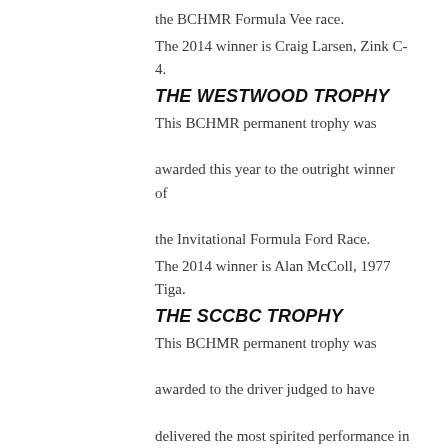the BCHMR Formula Vee race.
The 2014 winner is Craig Larsen, Zink C-4.
THE WESTWOOD TROPHY
This BCHMR permanent trophy was awarded this year to the outright winner of the Invitational Formula Ford Race.
The 2014 winner is Alan McColl, 1977 Tiga.
THE SCCBC TROPHY
This BCHMR permanent trophy was awarded to the driver judged to have delivered the most spirited performance in the combined Vintage Closed Wheel groups.
The 2014 winner is Geoff Tupholme, 1973 Austin Mini.
THE PETE LOVELY MEMORIAL AWARD